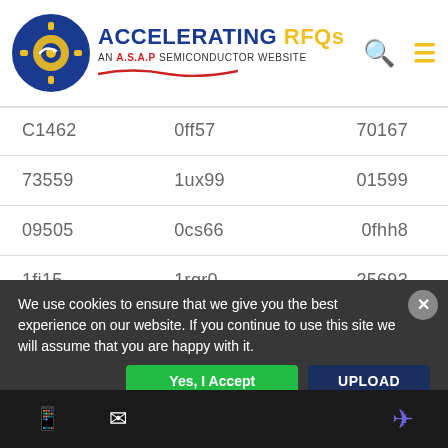[Figure (logo): Accelerating RFQs - An A.S.A.P Semiconductor Website logo with gear icon]
| C1462 | 0ff57 | 70167 |
| 73559 | 1ux99 | 01599 |
| 09505 | 0cs66 | 0fhh8 |
| 1fj15 | 1rqr0 | 25693 |
| 3psd7 | 56033 | 57219 |
| 60363 | 62709 | 7w356 |
| 97153 | K0720 | K8439 |
We use cookies to ensure that we give you the best experience on our website. If you continue to use this site we will assume that you are happy with it.